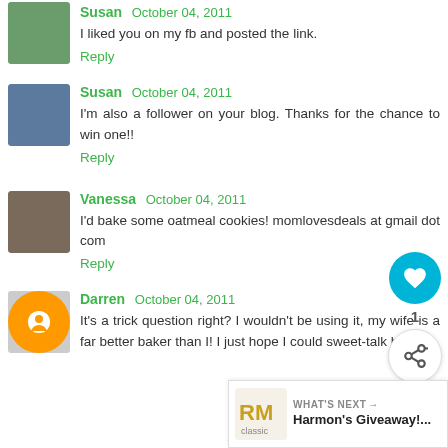Susan October 04, 2011
I liked you on my fb and posted the link.
Reply
Susan October 04, 2011
I'm also a follower on your blog. Thanks for the chance to win one!!
Reply
Vanessa October 04, 2011
I'd bake some oatmeal cookies! momlovesdeals at gmail dot com
Reply
Darren October 04, 2011
It's a trick question right? I wouldn't be using it, my wife is a far better baker than I! I just hope I could sweet-talk her into